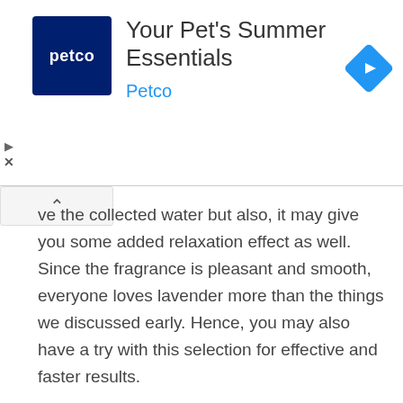[Figure (advertisement): Petco advertisement banner with Petco logo (white text on dark blue background), headline 'Your Pet's Summer Essentials', brand name 'Petco' in blue, and a blue diamond navigation icon on the right.]
ve the collected water but also, it may give you some added relaxation effect as well. Since the fragrance is pleasant and smooth, everyone loves lavender more than the things we discussed early. Hence, you may also have a try with this selection for effective and faster results.